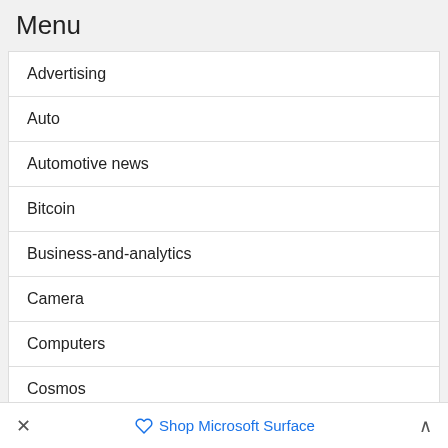Menu
Advertising
Auto
Automotive news
Bitcoin
Business-and-analytics
Camera
Computers
Cosmos
Dissenting-opinion
Downloadabe
Entertainment
× Shop Microsoft Surface ∧